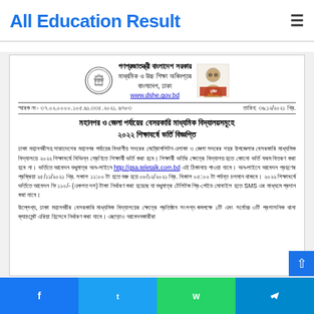All Education Result
[Figure (screenshot): Scanned official government document from Bangladesh - Directorate of Secondary and Higher Education (DSHE), announcing admission notice for private secondary schools in metropolitan and district areas for 2022 academic year. Contains government logo, portrait of Sheikh Mujibur Rahman, reference number, date, bold Bengali title, and Bengali body text with URL http://gsa.teletalk.com.bd]
Facebook | Twitter | WhatsApp | Telegram